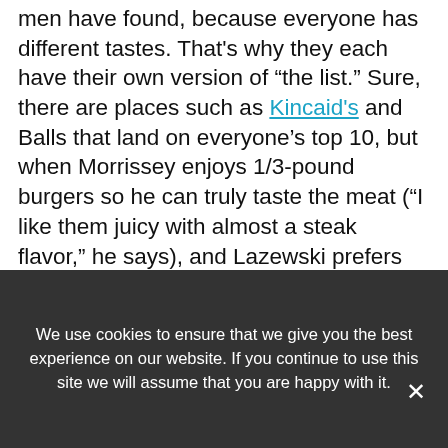men have found, because everyone has different tastes. That's why they each have their own version of "the list." Sure, there are places such as Kincaid's and Balls that land on everyone's top 10, but when Morrissey enjoys 1/3-pound burgers so he can truly taste the meat ("I like them juicy with almost a steak flavor," he says), and Lazewski prefers thicker burgers, they're bound to disagree.
[Figure (other): Advertisement banner: 'WHAT IS YOUR HOME WORTH? VISIT OUR WEBSITE TO' with a photo of two people and a dark blue button.]
We use cookies to ensure that we give you the best experience on our website. If you continue to use this site we will assume that you are happy with it.